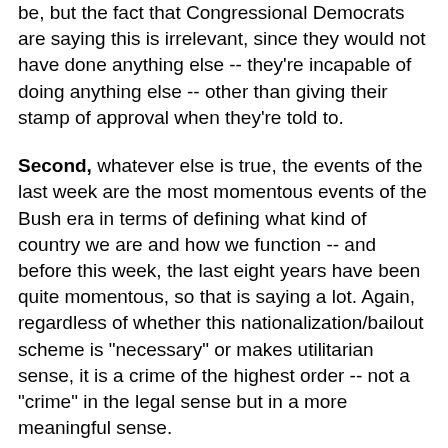be, but the fact that Congressional Democrats are saying this is irrelevant, since they would not have done anything else -- they're incapable of doing anything else -- other than giving their stamp of approval when they're told to.
Second, whatever else is true, the events of the last week are the most momentous events of the Bush era in terms of defining what kind of country we are and how we function -- and before this week, the last eight years have been quite momentous, so that is saying a lot. Again, regardless of whether this nationalization/bailout scheme is "necessary" or makes utilitarian sense, it is a crime of the highest order -- not a "crime" in the legal sense but in a more meaningful sense.
What is more intrinsically corrupt than allowing people to engage in high-reward/no-risk capitalism -- where they reap tens of millions of dollars and more every year while their reckless gambles are paying off only to then have the